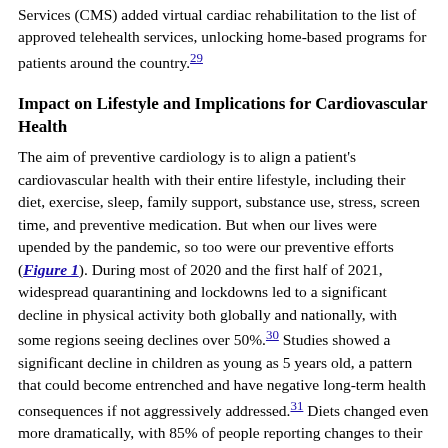Services (CMS) added virtual cardiac rehabilitation to the list of approved telehealth services, unlocking home-based programs for patients around the country.29
Impact on Lifestyle and Implications for Cardiovascular Health
The aim of preventive cardiology is to align a patient's cardiovascular health with their entire lifestyle, including their diet, exercise, sleep, family support, substance use, stress, screen time, and preventive medication. But when our lives were upended by the pandemic, so too were our preventive efforts (Figure 1). During most of 2020 and the first half of 2021, widespread quarantining and lockdowns led to a significant decline in physical activity both globally and nationally, with some regions seeing declines over 50%.30 Studies showed a significant decline in children as young as 5 years old, a pattern that could become entrenched and have negative long-term health consequences if not aggressively addressed.31 Diets changed even more dramatically, with 85% of people reporting changes to their eating habits or food preparation. With entire families at home, there was the potential for individuals to snack more, think about food more, and consume more calories than usual.32,33 A study of lifestyle activities in 7,753 participants found weight gain in 27.5% of total participants